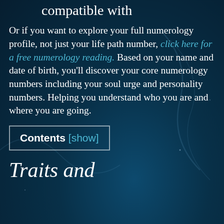compatible with
Or if you want to explore your full numerology profile, not just your life path number, click here for a free numerology reading. Based on your name and date of birth, you'll discover your core numerology numbers including your soul urge and personality numbers. Helping you understand who you are and where you are going.
Contents [show]
Traits and